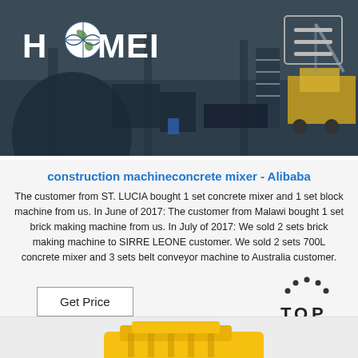[Figure (screenshot): HAOMEI logo and factory background banner image with hamburger menu button in top right corner]
construction machineconcrete mixer - Alibaba
The customer from ST. LUCIA bought 1 set concrete mixer and 1 set block machine from us. In June of 2017: The customer from Malawi bought 1 set brick making machine from us. In July of 2017: We sold 2 sets brick making machine to SIRRE LEONE customer. We sold 2 sets 700L concrete mixer and 3 sets belt conveyor machine to Australia customer.
[Figure (illustration): Get Price button and TOP scroll icon]
[Figure (photo): Partial yellow construction machine visible at bottom of page]